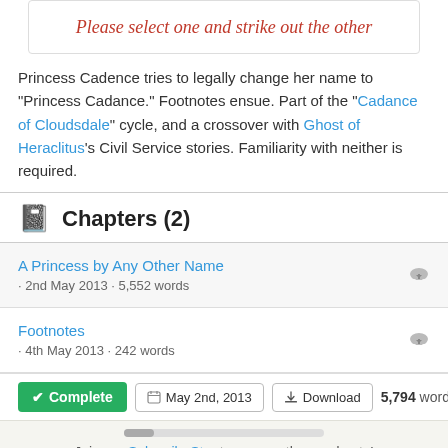[Figure (illustration): Box with cursive red text: Please select one and strike out the other]
Princess Cadence tries to legally change her name to "Princess Cadance." Footnotes ensue. Part of the "Cadance of Cloudsdale" cycle, and a crossover with Ghost of Heraclitus's Civil Service stories. Familiarity with neither is required.
Chapters (2)
A Princess by Any Other Name · 2nd May 2013 · 5,552 words
Footnotes · 4th May 2013 · 242 words
Complete  May 2nd, 2013  Download  5,794 words
Join our SubscribeStar to remove these adverts!